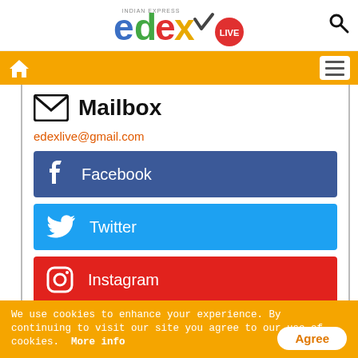[Figure (logo): Edex Live logo (Indian Express) with colorful letters e, d, e, x and red LIVE badge]
[Figure (infographic): Navigation bar with home icon and hamburger menu on orange background]
Mailbox
edexlive@gmail.com
[Figure (infographic): Facebook social media button - dark blue with Facebook icon and label]
[Figure (infographic): Twitter social media button - light blue with Twitter bird icon and label]
[Figure (infographic): Instagram social media button - red with Instagram icon and label (partially visible)]
We use cookies to enhance your experience. By continuing to visit our site you agree to our use of cookies.  More info
Agree